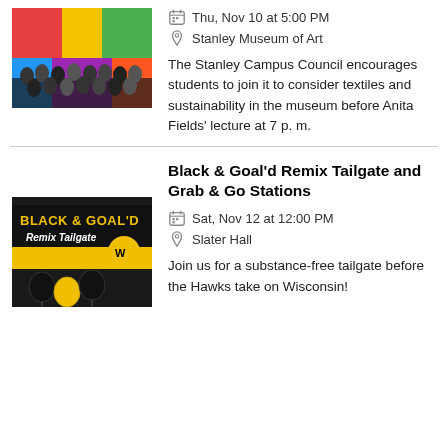[Figure (photo): Group photo of students in front of colorful mural at Stanley Museum of Art]
Thu, Nov 10 at 5:00 PM
Stanley Museum of Art
The Stanley Campus Council encourages students to join it to consider textiles and sustainability in the museum before Anita Fields' lecture at 7 p. m.
[Figure (photo): Black & Goal'd Remix Tailgate promotional image with black and gold balloons and University of Iowa logo]
Black & Goal'd Remix Tailgate and Grab & Go Stations
Sat, Nov 12 at 12:00 PM
Slater Hall
Join us for a substance-free tailgate before the Hawks take on Wisconsin!